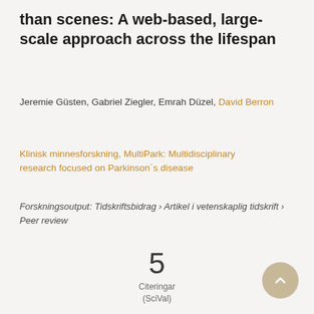than scenes: A web-based, large-scale approach across the lifespan
Jeremie Güsten, Gabriel Ziegler, Emrah Düzel, David Berron
Klinisk minnesforskning, MultiPark: Multidisciplinary research focused on Parkinson´s disease
Forskningsoutput: Tidskriftsbidrag › Artikel i vetenskaplig tidskrift › Peer review
5
Citeringar
(SciVal)